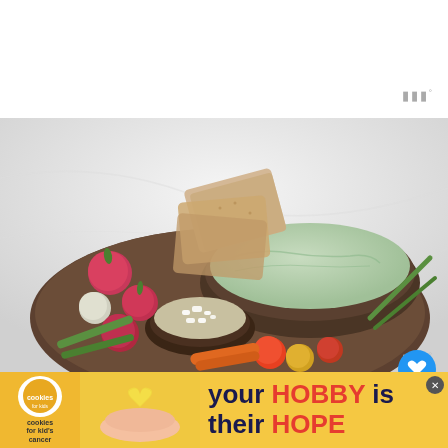[Figure (photo): A wooden board/platter with a large bowl of green herb dip or sauce, a smaller bowl of crumbled white cheese (feta), flatbread crackers, radishes, green beans, cherry tomatoes, carrots, and spring onions arranged around the bowls.]
[Figure (infographic): Heart icon button (blue circle) and share icon button (white circle) overlaid on top right of photo, plus a 'WHAT'S NEXT' panel showing a thumbnail and text 'Savory Golden Miso Oats w...']
[Figure (photo): Advertisement banner: 'cookies for kid's cancer' logo on yellow background with hand holding a heart-shaped cookie, text reads 'your HOBBY is their HOPE']